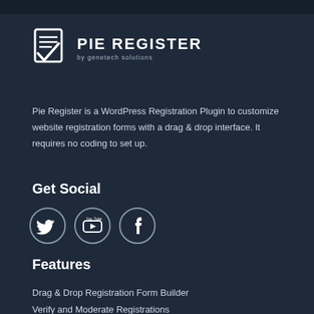[Figure (logo): Pie Register logo with checkmark icon and text 'PIE REGISTER by genetech solutions']
Pie Register is a WordPress Registration Plugin to customize website registration forms with a drag & drop interface. It requires no coding to set up.
Get Social
[Figure (illustration): Three circular social media icons: Twitter bird, YouTube play button, Facebook f]
Features
Drag & Drop Registration Form Builder
Verify and Moderate Registrations